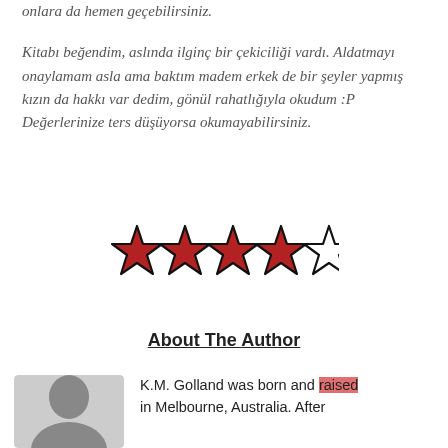onlara da hemen geçebilirsiniz. Kitabı beğendim, aslında ilginç bir çekiciliği vardı. Aldatmayı onaylamam asla ama baktım madem erkek de bir şeyler yapmış kızın da hakkı var dedim, gönül rahatlığıyla okudum :P Değerlerinize ters düşüyorsa okumayabilirsiniz.
[Figure (illustration): 4 filled red stars and 1 empty/outline star rating]
About The Author
[Figure (photo): Author photo: a person shown from shoulders up, partial view]
K.M. Golland was born and raised in Melbourne, Australia. After